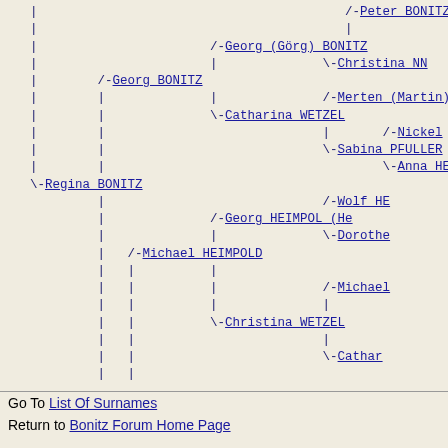[Figure (organizational-chart): Genealogy ancestor tree showing family relationships for the BONITZ family. Names include Peter BONITZ, Dorothe..., Georg (Görg) BONITZ, Christina NN, Georg BONITZ, Merten (Martin) W..., Catharina WETZEL, Nickel..., Sabina PFULLER, Anna HE..., Regina BONITZ, Wolf HE..., Georg HEIMPOL (He..., Dorothe..., Michael HEIMPOLD, Michael..., Christina WETZEL, Cathar..., Christina HEIMPOLD, Margaretha LEONHARD]
Go To List Of Surnames
Return to Bonitz Forum Home Page